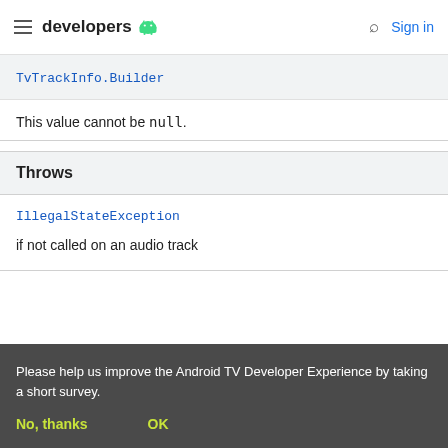developers (android logo) | Search | Sign in
| TvTrackInfo.Builder |
This value cannot be null.
| Throws |
| --- |
| IllegalStateException | if not called on an audio track |
Please help us improve the Android TV Developer Experience by taking a short survey.
No, thanks   OK